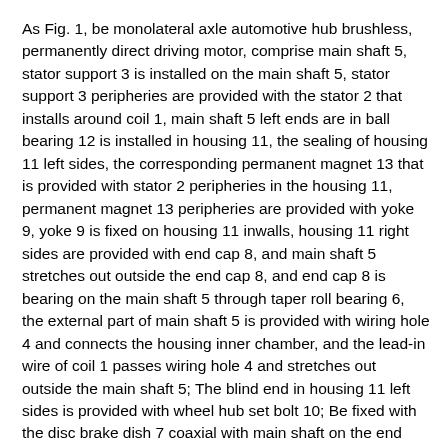As Fig. 1, be monolateral axle automotive hub brushless, permanently direct driving motor, comprise main shaft 5, stator support 3 is installed on the main shaft 5, stator support 3 peripheries are provided with the stator 2 that installs around coil 1, main shaft 5 left ends are in ball bearing 12 is installed in housing 11, the sealing of housing 11 left sides, the corresponding permanent magnet 13 that is provided with stator 2 peripheries in the housing 11, permanent magnet 13 peripheries are provided with yoke 9, yoke 9 is fixed on housing 11 inwalls, housing 11 right sides are provided with end cap 8, and main shaft 5 stretches out outside the end cap 8, and end cap 8 is bearing on the main shaft 5 through taper roll bearing 6, the external part of main shaft 5 is provided with wiring hole 4 and connects the housing inner chamber, and the lead-in wire of coil 1 passes wiring hole 4 and stretches out outside the main shaft 5; The blind end in housing 11 left sides is provided with wheel hub set bolt 10; Be fixed with the disc brake dish 7 coaxial with main shaft on the end cap 8, when braking for reducing, disc brake dish 7 is provided with heat insulating mattress 14 to the end cap heat radiation between disc brake dish 7 and end cap 8.